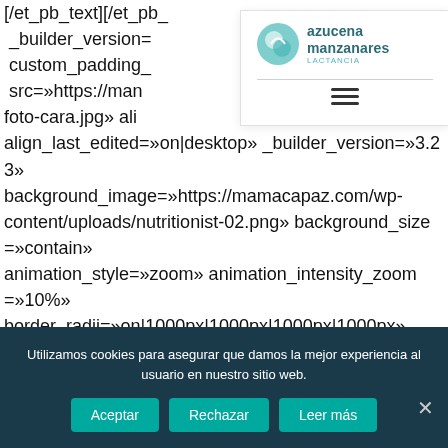[/et_pb_text][/et_pb_column="1_2" _builder_version= custom_padding_ src=»https://man /azu-cumple-foto-cara.jpg» ali» align_last_edited=»on|desktop» _builder_version=»3.23» background_image=»https://mamacapaz.com/wp-content/uploads/nutritionist-02.png» background_size=»contain» animation_style=»zoom» animation_intensity_zoom=»10%» border_radii=»on|1000px|1000px|1000px|1000px» box_shadow_style=»preset1» box_shadow_vertical=»10px» box_shadow_blur=»60px» box_shadow_color=»rgba(1,33,92,0.1)» animation=»top»][/et_pb_image][/et_pb_column][/et_pb_row]
[Figure (logo): Azucena Manzanares Lactancia logo with teal circular icon and text, plus hamburger menu icon below a horizontal rule]
Utilizamos cookies para asegurar que damos la mejor experiencia al usuario en nuestro sitio web.
Aceptar
Rechazar
Leer más